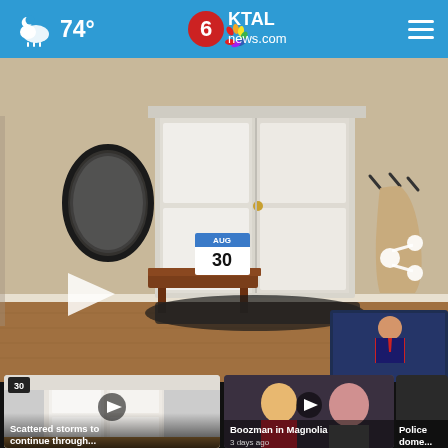74° KTAL news.com
[Figure (screenshot): Main video player showing animated 3D room scene with a closet door, mirror, desk with calendar showing AUG 30, coat hooks, and a small inset video of a news anchor in lower right corner. Share icon visible in upper right. Play button overlay in lower left.]
[Figure (screenshot): News card 1: Video thumbnail of a white door, badge '30', play button overlay. Title: 'Scattered storms to continue through...']
[Figure (screenshot): News card 2: Video thumbnail of people, play button overlay. Title: 'Boozman in Magnolia']
[Figure (screenshot): News card 3: Partial news card. Title begins: 'Police dome...']